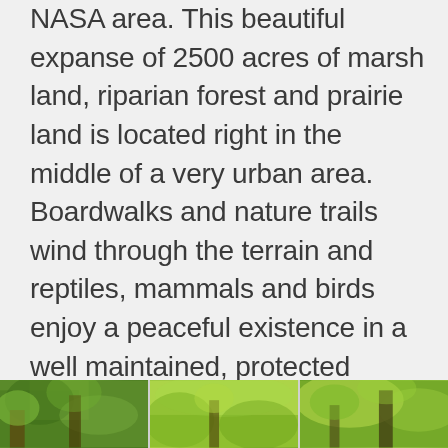NASA area. This beautiful expanse of 2500 acres of marsh land, riparian forest and prairie land is located right in the middle of a very urban area. Boardwalks and nature trails wind through the terrain and reptiles, mammals and birds enjoy a peaceful existence in a well maintained, protected environment.
[Figure (photo): A strip of three nature/forest photographs showing green trees and foliage at the bottom of the page.]